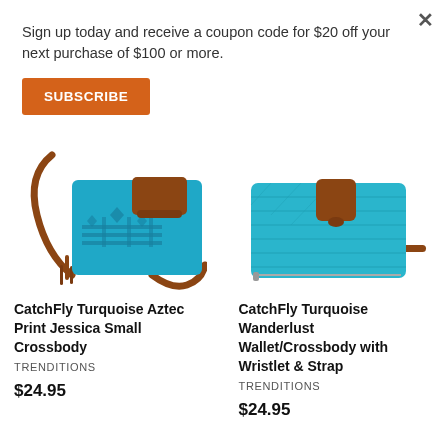Sign up today and receive a coupon code for $20 off your next purchase of $100 or more.
SUBSCRIBE
[Figure (photo): CatchFly turquoise aztec print small crossbody bag with brown leather strap and tassel]
[Figure (photo): CatchFly turquoise wanderlust wallet/crossbody with brown leather wristlet and strap]
CatchFly Turquoise Aztec Print Jessica Small Crossbody
TRENDITIONS
$24.95
CatchFly Turquoise Wanderlust Wallet/Crossbody with Wristlet & Strap
TRENDITIONS
$24.95